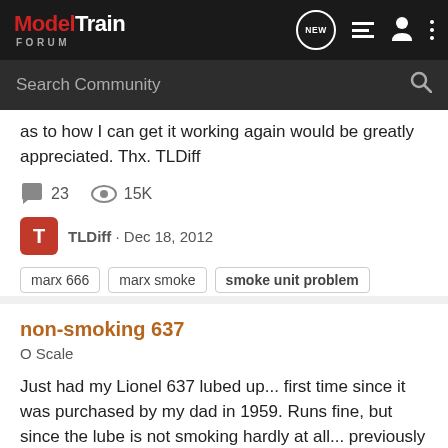ModelTrain FORUM
Search Community
as to how I can get it working again would be greatly appreciated. Thx. TLDiff
23   15K
TLDiff · Dec 18, 2012
marx 666
marx smoke
smoke unit problem
non-smoking 637
O Scale
Just had my Lionel 637 lubed up... first time since it was purchased by my dad in 1959. Runs fine, but since the lube is not smoking hardly at all... previously was blowing smoke rings and clouding the room. Is still set up for pellets. Took it apart this weekend and noticed that the cap on...